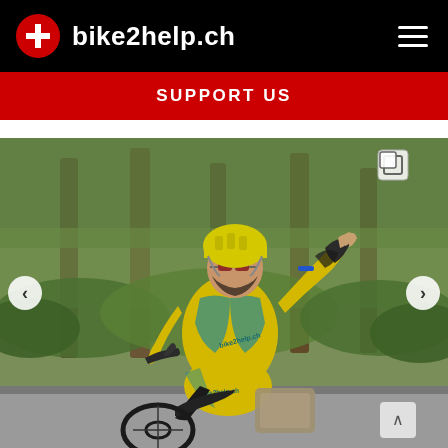bike2help.ch
SUPPORT US
[Figure (photo): A cyclist wearing a yellow and teal bike2help.ch jersey and matching yellow helmet, riding a black road bike on a paved road. The cyclist is waving with their right hand and smiling. The background shows a forest with tall evergreen trees and green shrubs. The cyclist's shorts read 'bike2help.ch'.]